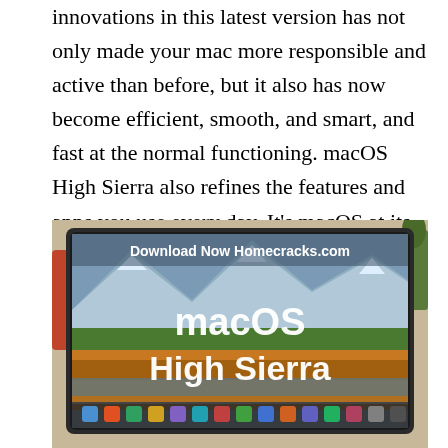innovations in this latest version has not only made your mac more responsible and active than before, but it also has now become efficient, smooth, and smart, and fast at the normal functioning. macOS High Sierra also refines the features and apps you use every day. It's macOS at its highest level yet. Also, may you like, Virtual DJ Pro 2021 Crack
[Figure (photo): A laptop displaying the macOS High Sierra box art/screen, showing a mountain landscape with autumn foliage. Text overlay reads 'Download Now Homecracks.com' and 'macOS High Sierra'. The laptop is on a desk with a plant visible in the background.]